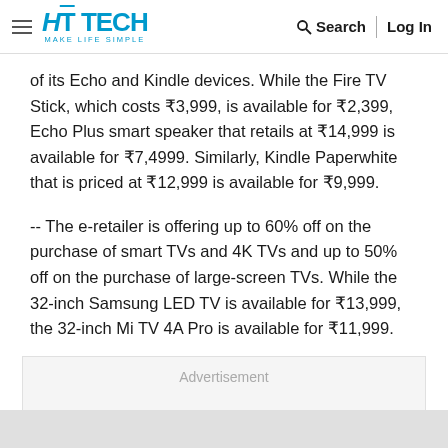HT TECH MAKE LIFE SIMPLE | Search | Log In
of its Echo and Kindle devices. While the Fire TV Stick, which costs ₹3,999, is available for ₹2,399, Echo Plus smart speaker that retails at ₹14,999 is available for ₹7,4999. Similarly, Kindle Paperwhite that is priced at ₹12,999 is available for ₹9,999.
-- The e-retailer is offering up to 60% off on the purchase of smart TVs and 4K TVs and up to 50% off on the purchase of large-screen TVs. While the 32-inch Samsung LED TV is available for ₹13,999, the 32-inch Mi TV 4A Pro is available for ₹11,999.
[Figure (other): Advertisement placeholder box]